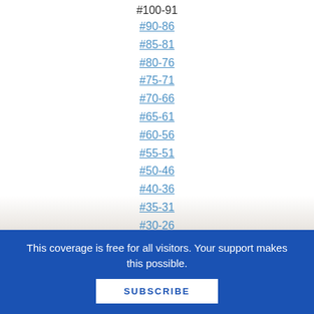#100-91
#90-86
#85-81
#80-76
#75-71
#70-66
#65-61
#60-56
#55-51
#50-46
#40-36
#35-31
#30-26
#25-21
This coverage is free for all visitors. Your support makes this possible.
SUBSCRIBE